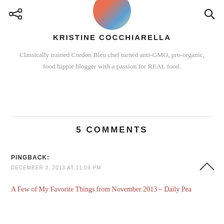share | chevron-down | search
[Figure (photo): Circular avatar photo of Kristine Cocchiarella, partially cropped at top]
KRISTINE COCCHIARELLA
Classically trained Cordon Bleu chef turned anti-GMO, pro-organic, food hippie blogger with a passion for REAL food.
5 COMMENTS
PINGBACK:
DECEMBER 3, 2013 AT 11:09 PM
A Few of My Favorite Things from November 2013 – Daily Pea